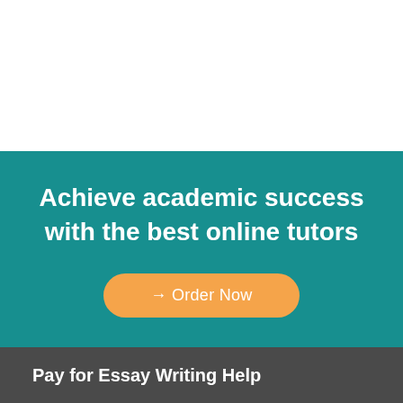[Figure (other): White blank area at top of page]
Achieve academic success with the best online tutors
→ Order Now
Pay for Essay Writing Help